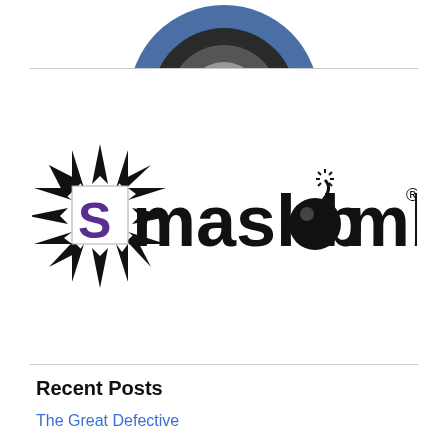[Figure (logo): Partial circular logo at top, blue circle with dark center, cropped at top]
[Figure (logo): Smashbomb logo: black starburst with purple S letter, followed by 'mashbomb' text in bold black with a bomb graphic replacing the 'o', and a registered trademark symbol]
Recent Posts
The Great Defective
Horrors of the Space Ague
Mass Murder on an Oriental Express